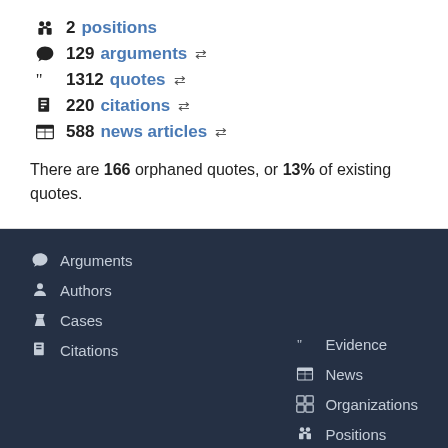2 positions
129 arguments
1312 quotes
220 citations
588 news articles
There are 166 orphaned quotes, or 13% of existing quotes.
Arguments
Authors
Cases
Citations
Evidence
News
Organizations
Positions